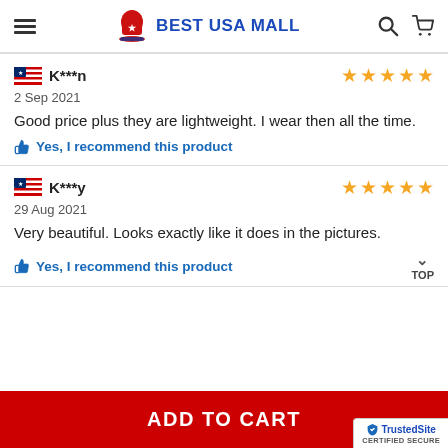BEST USA MALL
K***n
2 Sep 2021
Good price plus they are lightweight. I wear then all the time.
Yes, I recommend this product
K***y
29 Aug 2021
Very beautiful. Looks exactly like it does in the pictures.
Yes, I recommend this product
ADD TO CART